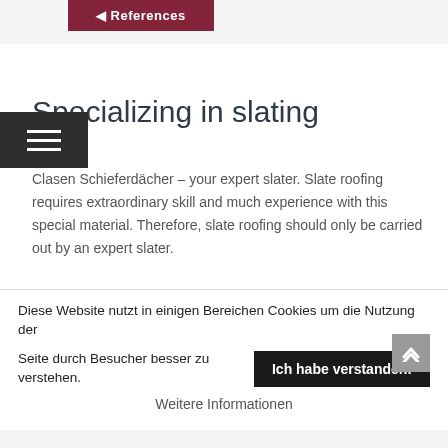References
Specializing in slating
Clasen Schieferdächer – your expert slater. Slate roofing requires extraordinary skill and much experience with this special material. Therefore, slate roofing should only be carried out by an expert slater.
Our staff are being continually trained to the state-of-the-art technology and hence guarantee the highest level of
Diese Website nutzt in einigen Bereichen Cookies um die Nutzung der Seite durch Besucher besser zu verstehen.
Ich habe verstanden!
Weitere Informationen